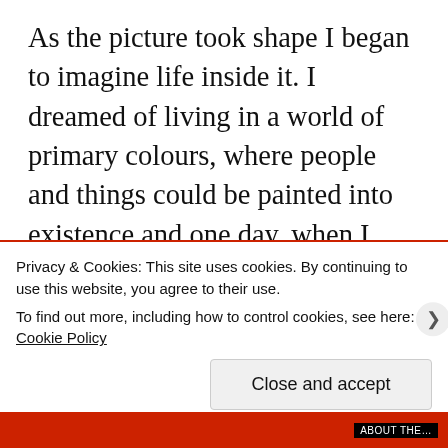As the picture took shape I began to imagine life inside it. I dreamed of living in a world of primary colours, where people and things could be painted into existence and one day, when I ventured nearer to check out the addition of a streetlamp, I found myself there, in a world of glorious technicolour akin to that of the Wizard of Oz. I only knew this when I heard a knock and realised I was in the house. I opened the door. A young postman in a bright red uniform was standing there. He handed me something. This
Privacy & Cookies: This site uses cookies. By continuing to use this website, you agree to their use.
To find out more, including how to control cookies, see here: Cookie Policy
Close and accept